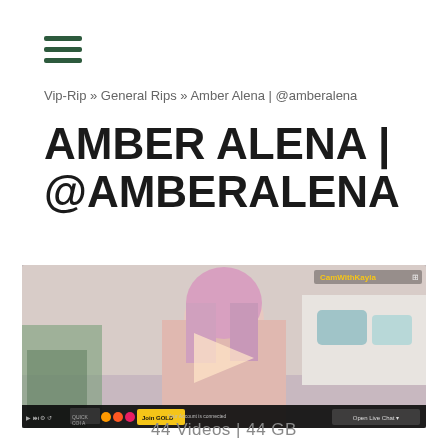≡
Vip-Rip » General Rips » Amber Alena | @amberalena
AMBER ALENA | @AMBERALENA
[Figure (screenshot): Video thumbnail showing a woman with pink hair on a bed, with video player controls at the bottom including a play button overlay, watermark, yellow and green buttons, and live chat button.]
44 Videos | 44 GB